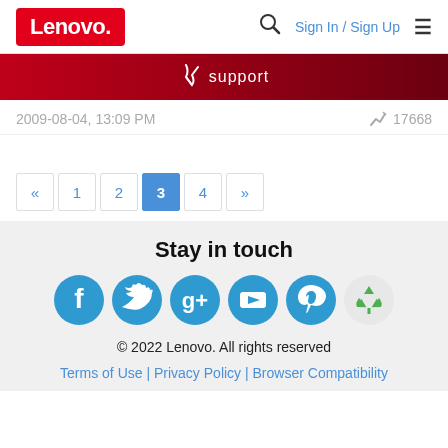[Figure (logo): Lenovo logo in red rectangle with white text, plus search icon, Sign In / Sign Up links, and hamburger menu]
[Figure (infographic): Dark red support banner with wrench/link icon and the word 'support' in white]
2009-08-04, 13:09 PM
17668
« 1 2 3 4 »
Stay in touch
[Figure (infographic): Social media icons: Facebook, Twitter, Google+, YouTube, Pinterest (blue circles), and Recycle (green circle)]
© 2022 Lenovo. All rights reserved
Terms of Use | Privacy Policy | Browser Compatibility